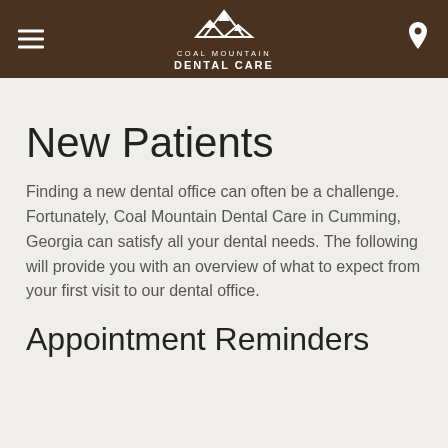Coal Mountain Dental Care
New Patients
Finding a new dental office can often be a challenge. Fortunately, Coal Mountain Dental Care in Cumming, Georgia can satisfy all your dental needs. The following will provide you with an overview of what to expect from your first visit to our dental office.
Appointment Reminders